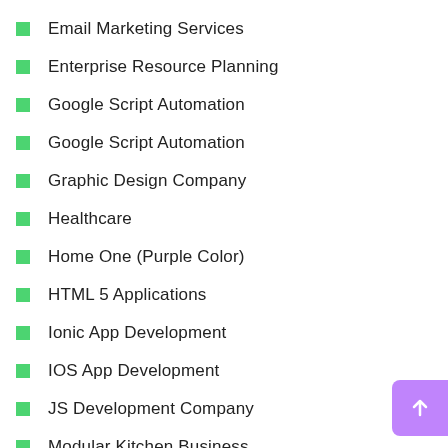Email Marketing Services
Enterprise Resource Planning
Google Script Automation
Google Script Automation
Graphic Design Company
Healthcare
Home One (Purple Color)
HTML 5 Applications
Ionic App Development
IOS App Development
JS Development Company
Modular Kitchen Business
Partnership Program
Partnership Program